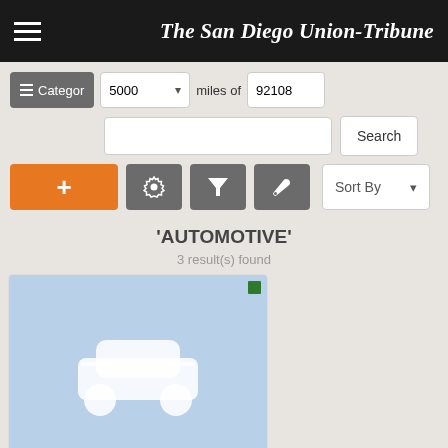The San Diego Union-Tribune
[Figure (screenshot): Search interface with Category button, 5000 miles dropdown, 92108 zip code, search box, Search button, plus/settings/filter/wrench buttons, Sort By dropdown]
'AUTOMOTIVE'
3 result(s) found
[Figure (illustration): Listing card for automotive result with light blue background showing white car icon silhouette and a green square indicator]
Chevrolet 2017 Malibu LT, 4 dr, looks just like new, extremely clean, 2.5 turbo, automatic, loaded